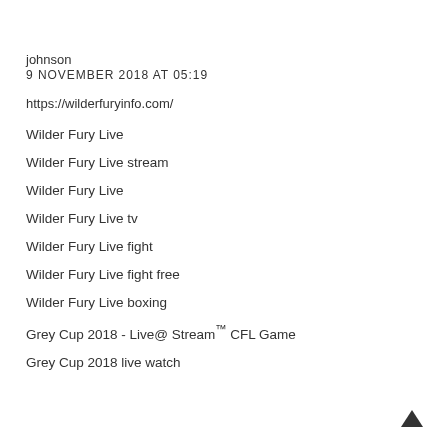johnson
9 NOVEMBER 2018 AT 05:19
https://wilderfuryinfo.com/
Wilder Fury Live
Wilder Fury Live stream
Wilder Fury Live
Wilder Fury Live tv
Wilder Fury Live fight
Wilder Fury Live fight free
Wilder Fury Live boxing
Grey Cup 2018 -  Live@ Stream™ CFL Game
Grey Cup 2018 live watch